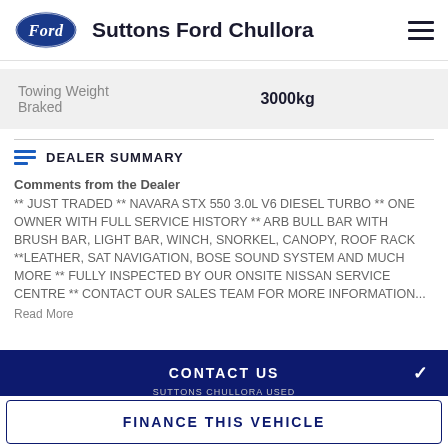Suttons Ford Chullora
|  |  |
| --- | --- |
| Towing Weight Braked | 3000kg |
DEALER SUMMARY
Comments from the Dealer
** JUST TRADED ** NAVARA STX 550 3.0L V6 DIESEL TURBO ** ONE OWNER WITH FULL SERVICE HISTORY ** ARB BULL BAR WITH BRUSH BAR, LIGHT BAR, WINCH, SNORKEL, CANOPY, ROOF RACK **LEATHER, SAT NAVIGATION, BOSE SOUND SYSTEM AND MUCH MORE ** FULLY INSPECTED BY OUR ONSITE NISSAN SERVICE CENTRE ** CONTACT OUR SALES TEAM FOR MORE INFORMATION...
Read More
CONTACT US
FINANCE THIS VEHICLE